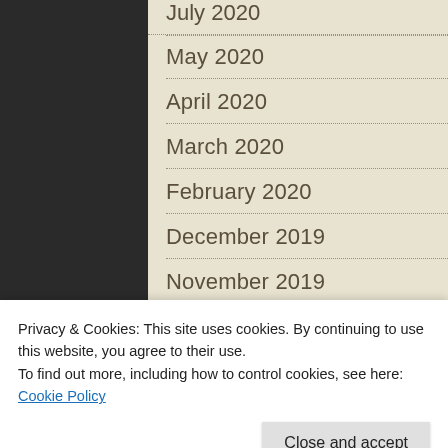July 2020
May 2020
April 2020
March 2020
February 2020
December 2019
November 2019
September 2019
August 2019
July 2019
May 2019
Privacy & Cookies: This site uses cookies. By continuing to use this website, you agree to their use.
To find out more, including how to control cookies, see here: Cookie Policy
May 2018